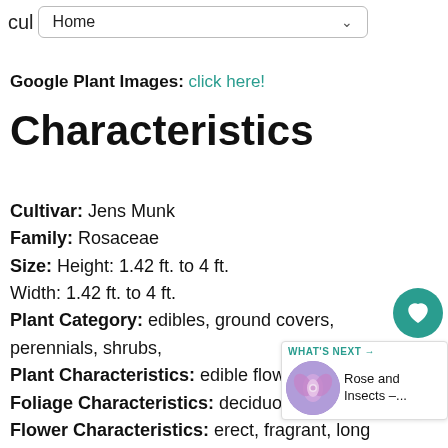cul  Home
Google Plant Images: click here!
Characteristics
Cultivar: Jens Munk
Family: Rosaceae
Size: Height: 1.42 ft. to 4 ft.
Width: 1.42 ft. to 4 ft.
Plant Category: edibles, ground covers, perennials, shrubs,
Plant Characteristics: edible flowers,
Foliage Characteristics: deciduous
Flower Characteristics: erect, fragrant, long lasting, showy,